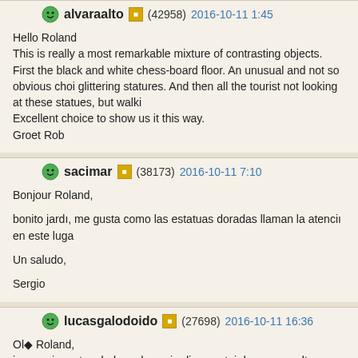alvaraalto (42958) 2016-10-11 1:45
Hello Roland
This is really a most remarkable mixture of contrasting objects.
First the black and white chess-board floor. An unusual and not so obvious choi glittering statures. And then all the tourist not looking at these statues, but walki
Excellent choice to show us it this way.
Groet Rob
sacimar (38173) 2016-10-11 7:10
Bonjour Roland,
bonito jardı, me gusta como las estatuas doradas llaman la atencıı en este luga
Un saludo,
Sergio
lucasgalodoido (27698) 2016-10-11 16:36
Olı Roland,
impressionante a beleza desse jardim, gostei dessas esculturas douradas e do
Belo trabalho.
Parabıs e Abraı,
Lucas